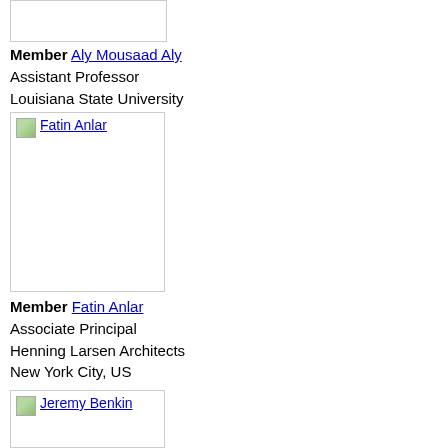[Figure (photo): Photo placeholder for Aly Mousaad Aly (top, partially visible)]
Member Aly Mousaad Aly
Assistant Professor
Louisiana State University
[Figure (photo): Photo of Fatin Anlar with broken image icon and alt text label]
Member Fatin Anlar
Associate Principal
Henning Larsen Architects
New York City, US
[Figure (photo): Photo of Jeremy Benkin with broken image icon and alt text label (partially visible)]